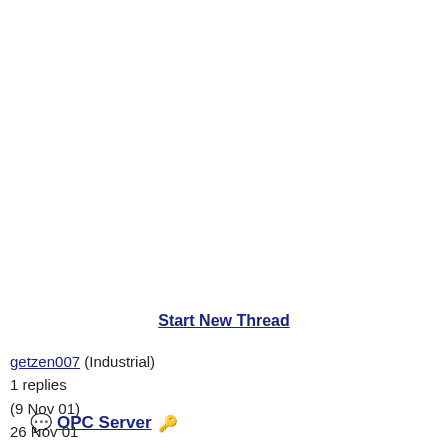Start New Thread
getzen007 (Industrial)
1 replies
(9 Nov 01)
26 Nov 01
💬 OPC Server 🔑